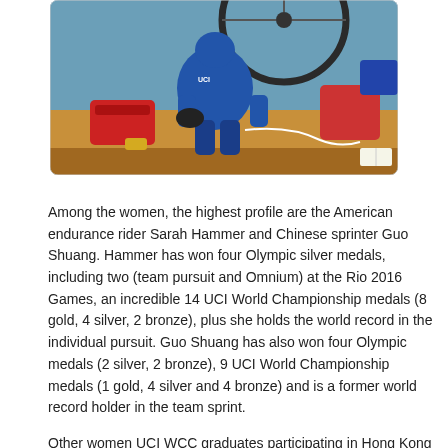[Figure (photo): A cyclist in a blue UCI jersey crouching over equipment on a wooden bench, with a bicycle wheel visible above and red bags in the background.]
Among the women, the highest profile are the American endurance rider Sarah Hammer and Chinese sprinter Guo Shuang. Hammer has won four Olympic silver medals, including two (team pursuit and Omnium) at the Rio 2016 Games, an incredible 14 UCI World Championship medals (8 gold, 4 silver, 2 bronze), plus she holds the world record in the individual pursuit. Guo Shuang has also won four Olympic medals (2 silver, 2 bronze), 9 UCI World Championship medals (1 gold, 4 silver and 4 bronze) and is a former world record holder in the team sprint.
Other women UCI WCC graduates participating in Hong Kong include Nicky Degrendele (Belgium), Juliana Gaviria (Colombia), Jarmila Machacova (Czech Republic), Silvia Valsecchi (Italy),